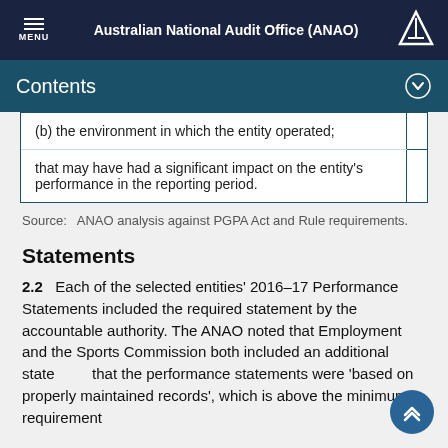Australian National Audit Office (ANAO)
Contents
| (b) the environment in which the entity operated; |
| that may have had a significant impact on the entity's performance in the reporting period. |
Source:   ANAO analysis against PGPA Act and Rule requirements.
Statements
2.2   Each of the selected entities' 2016–17 Performance Statements included the required statement by the accountable authority. The ANAO noted that Employment and the Sports Commission both included an additional statement that the performance statements were 'based on properly maintained records', which is above the minimum requirement